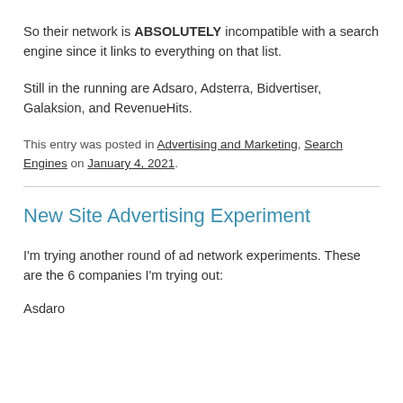So their network is ABSOLUTELY incompatible with a search engine since it links to everything on that list.
Still in the running are Adsaro, Adsterra, Bidvertiser, Galaksion, and RevenueHits.
This entry was posted in Advertising and Marketing, Search Engines on January 4, 2021.
New Site Advertising Experiment
I'm trying another round of ad network experiments. These are the 6 companies I'm trying out:
Asdaro